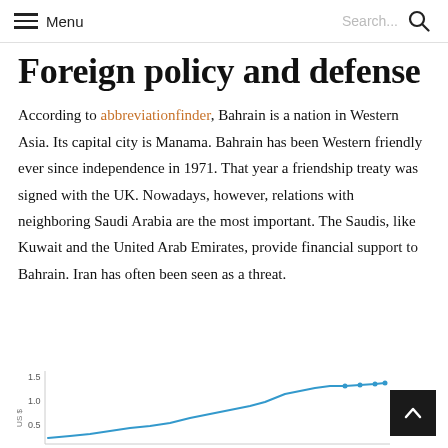Menu | Search...
Foreign policy and defense
According to abbreviationfinder, Bahrain is a nation in Western Asia. Its capital city is Manama. Bahrain has been Western friendly ever since independence in 1971. That year a friendship treaty was signed with the UK. Nowadays, however, relations with neighboring Saudi Arabia are the most important. The Saudis, like Kuwait and the United Arab Emirates, provide financial support to Bahrain. Iran has often been seen as a threat.
[Figure (continuous-plot): Partial line chart visible at the bottom of the page showing a rising curve with y-axis labels around 1.0 and what appears to be a time-series data trend upward.]